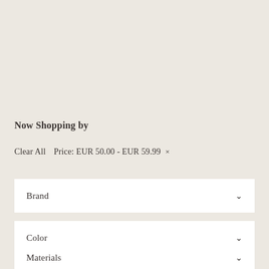Now Shopping by
Clear All   Price: EUR 50.00 - EUR 59.99 ×
Brand
Color
Materials